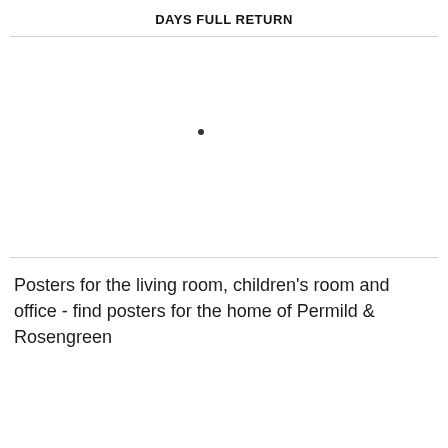DAYS FULL RETURN
[Figure (continuous-plot): A scatter plot area with a single data point (dot) visible near the upper-left region of an otherwise empty chart area, bounded by horizontal divider lines above and below.]
Posters for the living room, children's room and office - find posters for the home of Permild & Rosengreen